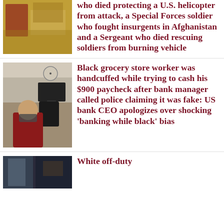[Figure (photo): Photo of military-related items, possibly gold/camouflage gear]
who died protecting a U.S. helicopter from attack, a Special Forces soldier who fought insurgents in Afghanistan and a Sergeant who died rescuing soldiers from burning vehicle
[Figure (photo): Photo of a person in a red jacket sitting in an office setting with a desk and computer]
Black grocery store worker was handcuffed while trying to cash his $900 paycheck after bank manager called police claiming it was fake: US bank CEO apologizes over shocking ‘banking while black’ bias
[Figure (photo): Partial photo, dark background]
White off-duty